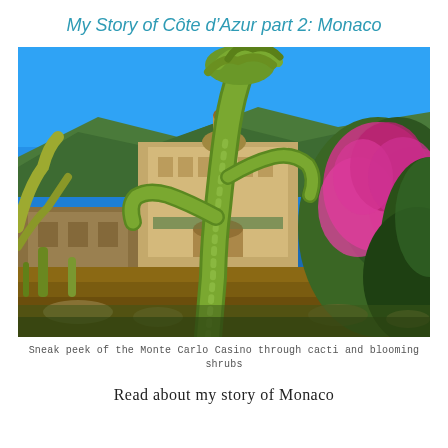My Story of Côte d’Azur part 2: Monaco
[Figure (photo): A bright sunny photo showing large cacti and blooming pink/magenta shrubs in the foreground, with the Monte Carlo Casino building visible behind them against a vivid blue sky. Green mountains are in the background.]
Sneak peek of the Monte Carlo Casino through cacti and blooming shrubs
Read about my story of Monaco